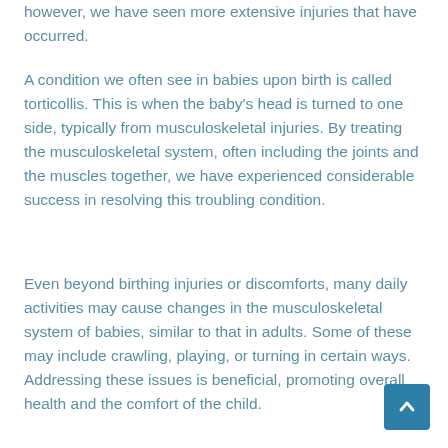however, we have seen more extensive injuries that have occurred.
A condition we often see in babies upon birth is called torticollis. This is when the baby’s head is turned to one side, typically from musculoskeletal injuries. By treating the musculoskeletal system, often including the joints and the muscles together, we have experienced considerable success in resolving this troubling condition.
Even beyond birthing injuries or discomforts, many daily activities may cause changes in the musculoskeletal system of babies, similar to that in adults. Some of these may include crawling, playing, or turning in certain ways. Addressing these issues is beneficial, promoting overall health and the comfort of the child.